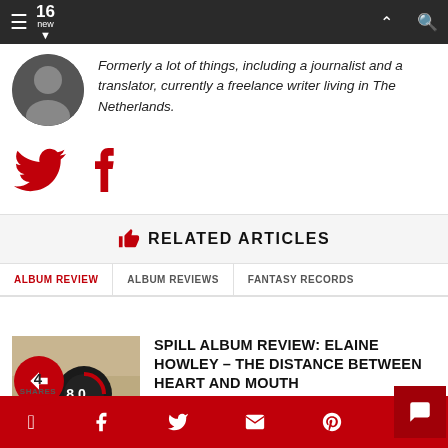16 new — navigation bar with hamburger menu and search icon
Formerly a lot of things, including a journalist and a translator, currently a freelance writer living in The Netherlands.
[Figure (illustration): Twitter and Facebook social media icons in dark red]
RELATED ARTICLES
ALBUM REVIEW | ALBUM REVIEWS | FANTASY RECORDS
[Figure (photo): Album artwork thumbnail with rating badge showing 8.0]
SPILL ALBUM REVIEW: ELAINE HOWLEY – THE DISTANCE BETWEEN HEART AND MOUTH
BY LJUBINKO ZIVKOVIC ON AUGUST 12, 2022
4 SHARES — social sharing bar with Facebook, Twitter, Email, Pinterest, WhatsApp icons